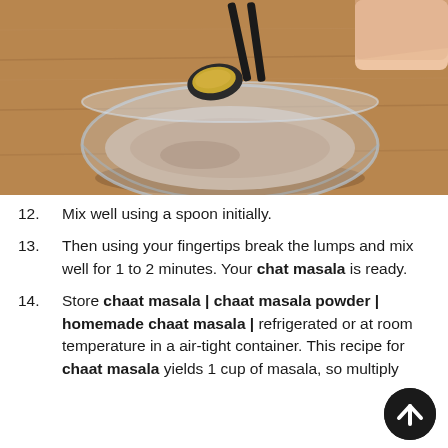[Figure (photo): A glass bowl containing mixed spice powder on a wooden surface. A hand holds black measuring spoons with golden-yellow spice powder (chaat masala) above the bowl.]
12. Mix well using a spoon initially.
13. Then using your fingertips break the lumps and mix well for 1 to 2 minutes. Your chat masala is ready.
14. Store chaat masala | chaat masala powder | homemade chaat masala | refrigerated or at room temperature in a air-tight container. This recipe for chaat masala yields 1 cup of masala, so multiply